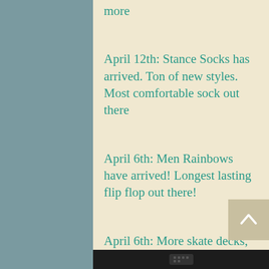more
April 12th: Stance Socks has arrived. Ton of new styles. Most comfortable sock out there
April 6th: Men Rainbows have arrived! Longest lasting flip flop out there!
April 6th: More skate decks, wheels, bearings, wax and skate tools. We have full stocked shelves & racks for all of you skaters. Also we got in a bunch of sk... ith this